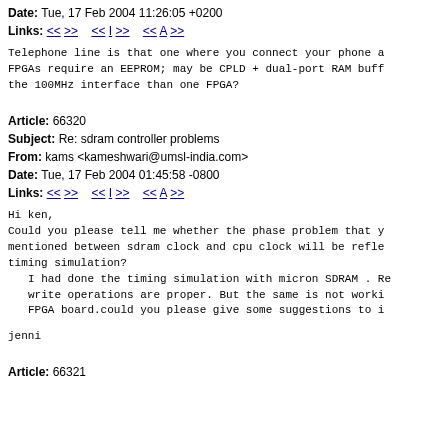Date: Tue, 17 Feb 2004 11:26:05 +0200
Links: << >>   << I >>   << A >>
Telephone line is that one where you connect your phone a FPGAs require an EEPROM; may be CPLD + dual-port RAM buff the 100MHz interface than one FPGA?
Article: 66320
Subject: Re: sdram controller problems
From: kams <kameshwari@umsl-india.com>
Date: Tue, 17 Feb 2004 01:45:58 -0800
Links: << >>   << I >>   << A >>
Hi ken,
Could you please tell me whether the phase problem that y mentioned between sdram clock and cpu clock will be refle timing simulation?
  I had done the timing simulation with micron SDRAM . Re write operations are proper. But the same is not worki FPGA board.could you please give some suggestions to i

jenni
Article: 66321